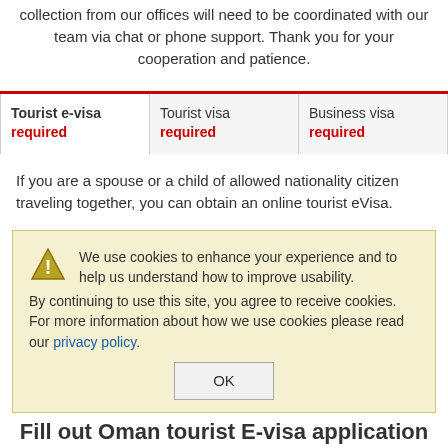collection from our offices will need to be coordinated with our team via chat or phone support. Thank you for your cooperation and patience.
| Tourist e-visa required | Tourist visa required | Business visa required |
| --- | --- | --- |
If you are a spouse or a child of allowed nationality citizen traveling together, you can obtain an online tourist eVisa.
We use cookies to enhance your experience and to help us understand how to improve usability. By continuing to use this site, you agree to receive cookies. For more information about how we use cookies please read our privacy policy.
OK
Fill out Oman tourist E-visa application